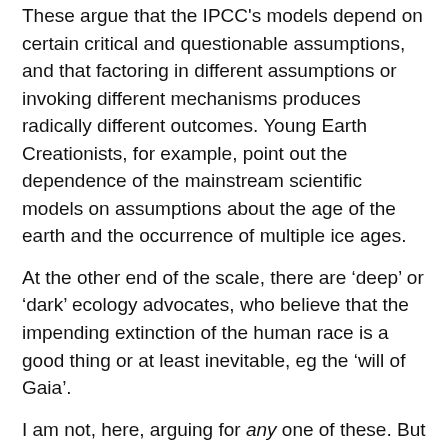These argue that the IPCC's models depend on certain critical and questionable assumptions, and that factoring in different assumptions or invoking different mechanisms produces radically different outcomes. Young Earth Creationists, for example, point out the dependence of the mainstream scientific models on assumptions about the age of the earth and the occurrence of multiple ice ages.
At the other end of the scale, there are ‘deep’ or ‘dark’ ecology advocates, who believe that the impending extinction of the human race is a good thing or at least inevitable, eg the ‘will of Gaia’.
I am not, here, arguing for any one of these. But we need to acknowledge that they exist, and that the ‘other’ might be partly right. If we are to promote any cause, we need fully to understand its arguments and comprehend its goals. And we should not be too quick to join any faction. (John 2:24-25) [2]